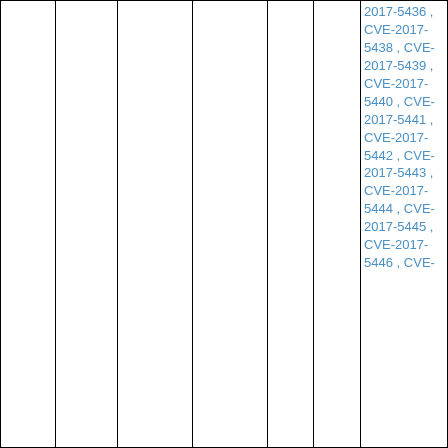|  |  |  |  |  | 2017-5436 , CVE-2017-5438 , CVE-2017-5439 , CVE-2017-5440 , CVE-2017-5441 , CVE-2017-5442 , CVE-2017-5443 , CVE-2017-5444 , CVE-2017-5445 , CVE-2017-5446 , CVE- |